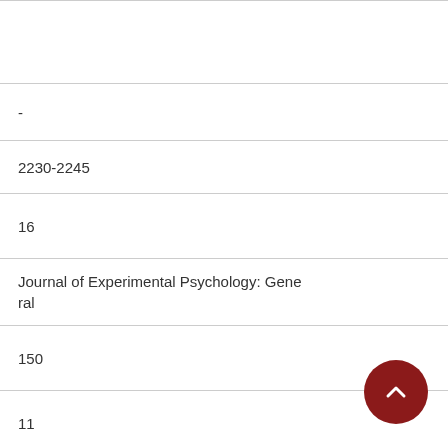-
2230-2245
16
Journal of Experimental Psychology: General
150
11
- 2021